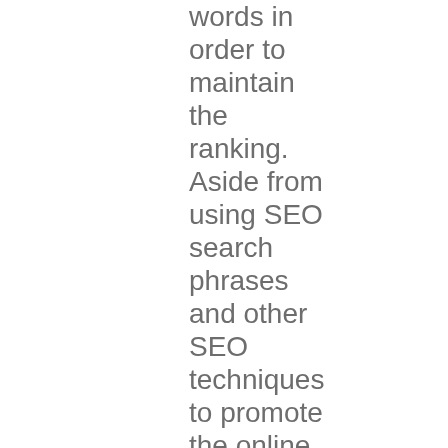words in order to maintain the ranking. Aside from using SEO search phrases and other SEO techniques to promote the online